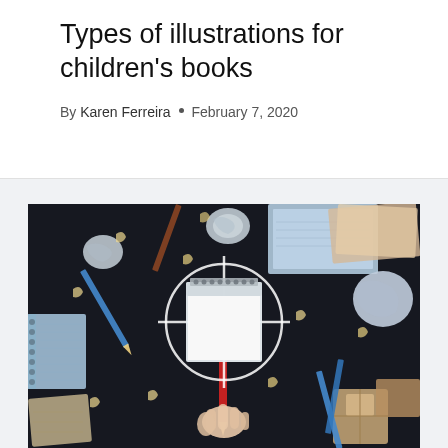Types of illustrations for children's books
By Karen Ferreira • February 7, 2020
[Figure (photo): Overhead aerial view of a dark table covered with art supplies including colored pencils, crumpled paper balls, notebooks, pencil shavings, and puzzle pieces. A hand holds a red pencil over a blank notepad in the center, which has a white crosshair/target drawn around it.]